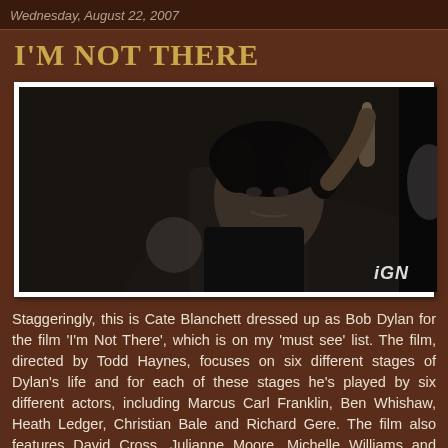Wednesday, August 22, 2007
I'M NOT THERE
[Figure (photo): Black and white film still showing Cate Blanchett dressed as Bob Dylan, holding up one finger, with curly hair, in a dark scene. IGN logo visible in bottom right corner.]
Staggeringly, this is Cate Blanchett dressed up as Bob Dylan for the film 'I'm Not There', which is on my 'must see' list. The film, directed by Todd Haynes, focuses on six different stages of Dylan's life and for each of these stages he's played by six different actors, including Marcus Carl Franklin, Ben Whishaw, Heath Ledger, Christian Bale and Richard Gere. The film also features David Cross, Julianne Moore, Michelle Williams and Charlotte Gainsbourg.